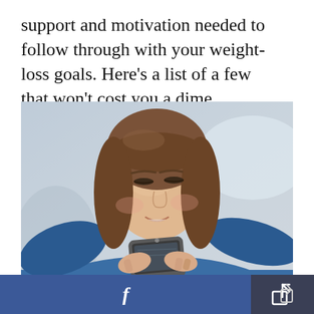support and motivation needed to follow through with your weight-loss goals. Here's a list of a few that won't cost you a dime.
[Figure (photo): Woman with brown hair smiling while looking down at a smartphone she holds in both hands, wearing a blue top, blurred background.]
[Figure (other): Facebook share button bar at the bottom of the page with a blue Facebook button and a dark share/export button.]